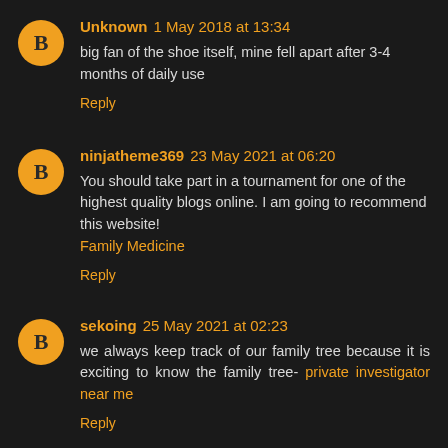Unknown 1 May 2018 at 13:34 — big fan of the shoe itself, mine fell apart after 3-4 months of daily use — Reply
ninjatheme369 23 May 2021 at 06:20 — You should take part in a tournament for one of the highest quality blogs online. I am going to recommend this website! Family Medicine — Reply
sekoing 25 May 2021 at 02:23 — we always keep track of our family tree because it is exciting to know the family tree- private investigator near me — Reply